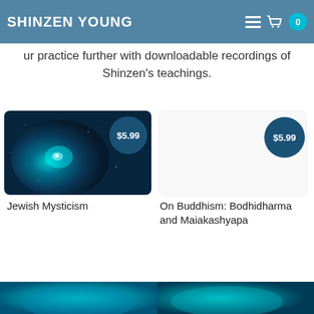SHINZEN YOUNG
ur practice further with downloadable recordings of Shinzen's teachings.
[Figure (photo): Product card for Jewish Mysticism — teal/dark-blue swirling galaxy-like underwater image with $5.99 price badge]
Jewish Mysticism
[Figure (other): Product card placeholder for On Buddhism: Bodhidharma and Maiakashyapa with $5.99 price badge on white background]
On Buddhism: Bodhidharma and Maiakashyapa
[Figure (photo): Bottom left thumbnail partial image, teal tones]
[Figure (photo): Bottom right thumbnail partial image, teal tones]